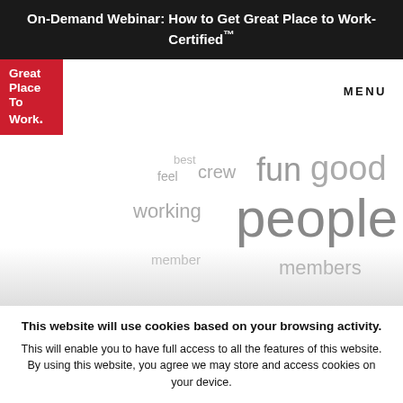On-Demand Webinar: How to Get Great Place to Work-Certified™
[Figure (logo): Great Place To Work red logo box with white text]
MENU
[Figure (infographic): Word cloud with words: best, feel, crew, fun, good, care, job, working, people, team, opportunity, different, member, members, family]
This website will use cookies based on your browsing activity.
This will enable you to have full access to all the features of this website. By using this website, you agree we may store and access cookies on your device.
I UNDERSTAND